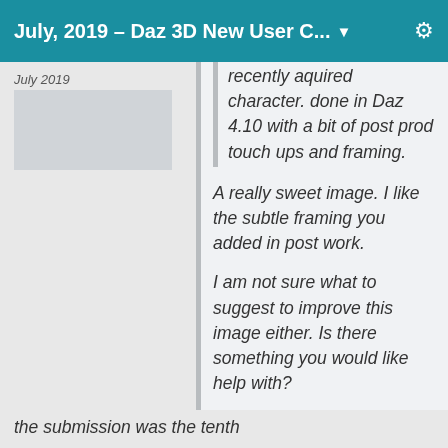July, 2019 – Daz 3D New User C... ▼
July 2019
recently aquired character. done in Daz 4.10 with a bit of post prod touch ups and framing.
A really sweet image.  I like the subtle framing you added in post work.

I am not sure what to suggest to improve this image either.  Is there something you would like help with?
the submission was the tenth